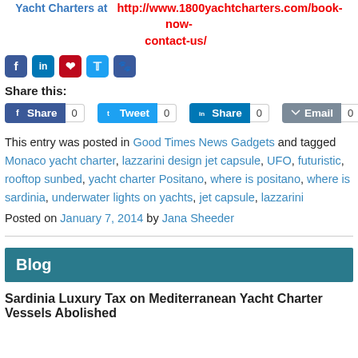Yacht Charters at http://www.1800yachtcharters.com/book-now-contact-us/
[Figure (infographic): Row of social media icon buttons: Facebook (blue), LinkedIn (blue), Pinterest (red), Twitter (light blue), Digg (blue paw)]
Share this:
[Figure (infographic): Social share buttons: Facebook Share 0, Twitter Tweet 0, LinkedIn Share 0, Email 0]
This entry was posted in Good Times News Gadgets and tagged Monaco yacht charter, lazzarini design jet capsule, UFO, futuristic, rooftop sunbed, yacht charter Positano, where is positano, where is sardinia, underwater lights on yachts, jet capsule, lazzarini
Posted on January 7, 2014 by Jana Sheeder
Blog
Sardinia Luxury Tax on Mediterranean Yacht Charter Vessels Abolished